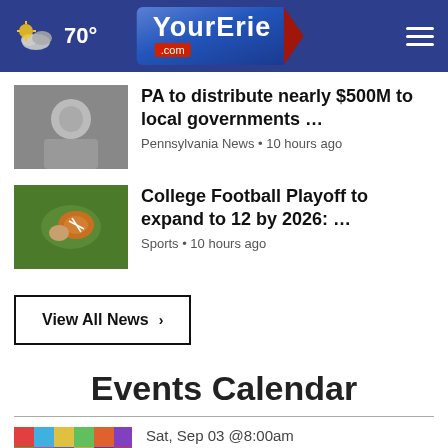YourErie.com — 70°
PA to distribute nearly $500M to local governments …
Pennsylvania News • 10 hours ago
College Football Playoff to expand to 12 by 2026: …
Sports • 10 hours ago
View All News ▶
Events Calendar
Sat, Sep 03 @8:00am
Flea market